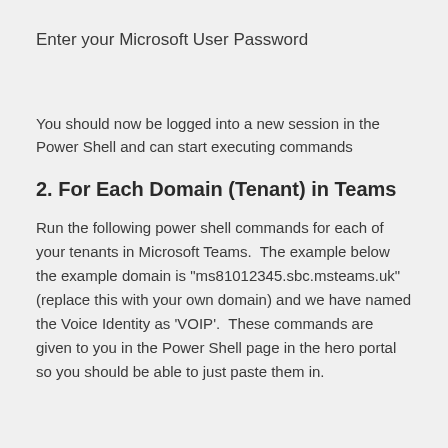Enter your Microsoft User Password
You should now be logged into a new session in the Power Shell and can start executing commands
2. For Each Domain (Tenant) in Teams
Run the following power shell commands for each of your tenants in Microsoft Teams.  The example below the example domain is "ms81012345.sbc.msteams.uk" (replace this with your own domain) and we have named the Voice Identity as 'VOIP'.  These commands are given to you in the Power Shell page in the hero portal so you should be able to just paste them in.